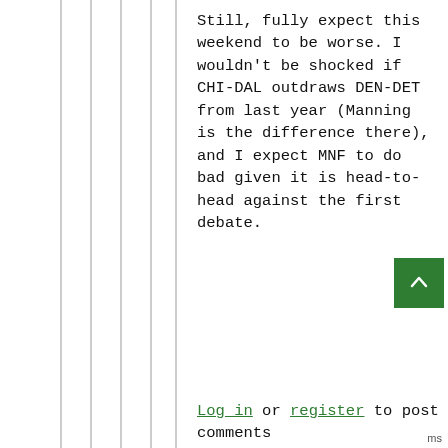Still, fully expect this weekend to be worse. I wouldn't be shocked if CHI-DAL outdraws DEN-DET from last year (Manning is the difference there), and I expect MNF to do bad given it is head-to-head against the first debate.
Log in or register to post comments